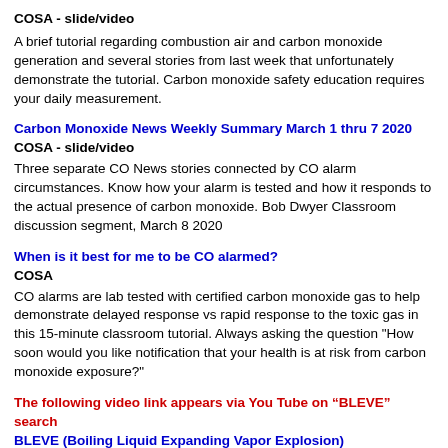COSA - slide/video
A brief tutorial regarding combustion air and carbon monoxide generation and several stories from last week that unfortunately demonstrate the tutorial. Carbon monoxide safety education requires your daily measurement.
Carbon Monoxide News Weekly Summary March 1 thru 7 2020
COSA - slide/video
Three separate CO News stories connected by CO alarm circumstances. Know how your alarm is tested and how it responds to the actual presence of carbon monoxide. Bob Dwyer Classroom discussion segment, March 8 2020
When is it best for me to be CO alarmed?
COSA
CO alarms are lab tested with certified carbon monoxide gas to help demonstrate delayed response vs rapid response to the toxic gas in this 15-minute classroom tutorial. Always asking the question "How soon would you like notification that your health is at risk from carbon monoxide exposure?"
The following video link appears via You Tube on “BLEVE” search BLEVE (Boiling Liquid Expanding Vapor Explosion) Demonstration - How it Happens Training Video
Video - Propane (LPG) tanks of any size can violently compound a structure fire – KEEP THEM OUTSIDE - This is an important notice to